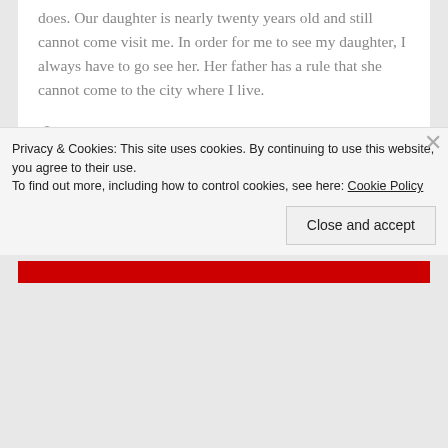does. Our daughter is nearly twenty years old and still cannot come visit me. In order for me to see my daughter, I always have to go see her. Her father has a rule that she cannot come to the city where I live.
November 21, 2018  0
Charming Becomes Dark – From One Of Our Readers
Privacy & Cookies: This site uses cookies. By continuing to use this website, you agree to their use.
To find out more, including how to control cookies, see here: Cookie Policy
Close and accept